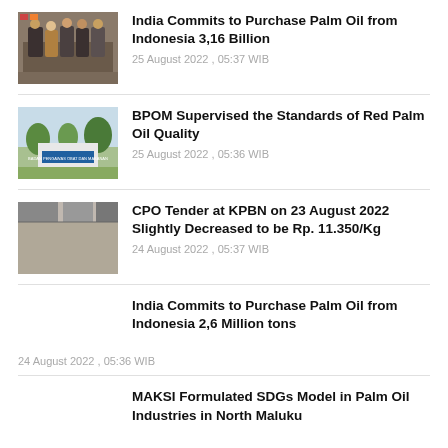India Commits to Purchase Palm Oil from Indonesia 3,16 Billion
25 August 2022 , 05:37 WIB
BPOM Supervised the Standards of Red Palm Oil Quality
25 August 2022 , 05:36 WIB
CPO Tender at KPBN on 23 August 2022 Slightly Decreased to be Rp. 11.350/Kg
24 August 2022 , 05:37 WIB
India Commits to Purchase Palm Oil from Indonesia 2,6 Million tons
24 August 2022 , 05:36 WIB
MAKSI Formulated SDGs Model in Palm Oil Industries in North Maluku